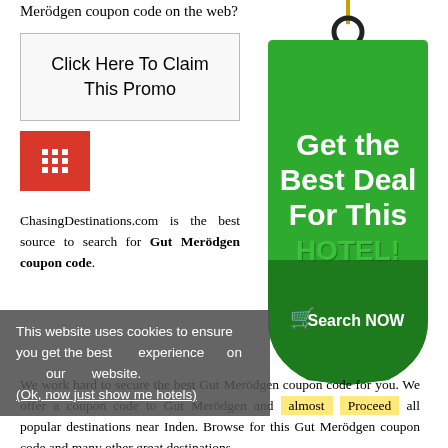Searching for the perfect Gut Merödgen coupon code on the web?
Click Here To Claim This Promo
[Figure (logo): Red square block with a building/hotel grid icon in white]
[Figure (illustration): Green sale price tag with gold string showing text: Get the Best Deal For This HOTEL! with a Search NOW button and shopping cart icon]
ChasingDestinations.com is the best source to search for Gut Merödgen coupon code.
This website uses cookies to ensure you get the best experience on our website. (Ok, now just show me hotels)
We work hard to secure the best Gut Merödgen coupon code for you. We offer a coupon code to Gut Merödgen and almost all popular destinations near Inden. Browse for this Gut Merödgen coupon code and many other great destinations.